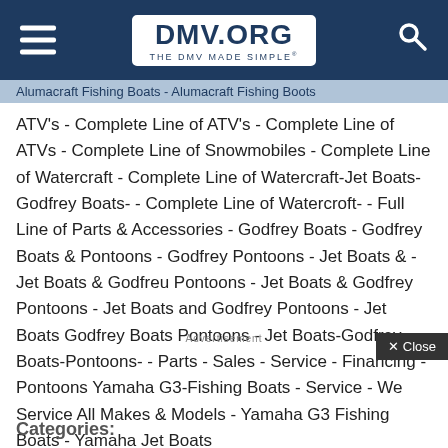DMV.ORG — THE DMV MADE SIMPLE
Alumacraft Fishing Boats - Alumacraft Fishing Boots ATV's - Complete Line of ATV's - Complete Line of ATVs - Complete Line of Snowmobiles - Complete Line of Watercraft - Complete Line of Watercraft-Jet Boats-Godfrey Boats- - Complete Line of Watercroft- - Full Line of Parts & Accessories - Godfrey Boats - Godfrey Boats & Pontoons - Godfrey Pontoons - Jet Boats & - Jet Boats & Godfreu Pontoons - Jet Boats & Godfrey Pontoons - Jet Boats and Godfrey Pontoons - Jet Boats Godfrey Boats Pontoons - Jet Boats-Godfrey Boats-Pontoons- - Parts - Sales - Service - Financing - Pontoons Yamaha G3-Fishing Boats - Service - We Service All Makes & Models - Yamaha G3 Fishing Boats - Yamaha Jet Boats
Categories: